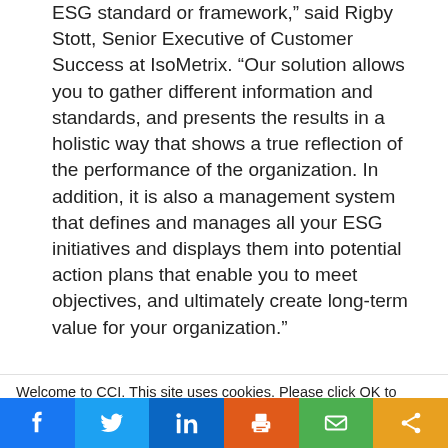ESG standard or framework,” said Rigby Stott, Senior Executive of Customer Success at IsoMetrix. “Our solution allows you to gather different information and standards, and presents the results in a holistic way that shows a true reflection of the performance of the organization. In addition, it is also a management system that defines and manages all your ESG initiatives and displays them into potential action plans that enable you to meet objectives, and ultimately create long-term value for your organization.”
Welcome to CCI. This site uses cookies. Please click OK to accept. Privacy Policy
Cookie settings
ACCEPT
[Figure (other): Social sharing bar with Facebook, Twitter, LinkedIn, print, email, and share buttons]